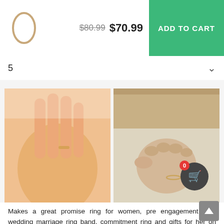[Figure (photo): Product thumbnail of a thin gold ring on white background]
$80.99 $70.99
ADD TO CART
5
[Figure (photo): Two product photos side by side: left shows a hand with a thin gold ring on the finger against white background; right shows a closed fist with a thin ring, near wooden furniture]
Makes a great promise ring for women, pre engagement ring, wedding marriage ring band, commitment ring and gifts for her on anniversaries, birthdays, graduations, Valentine's Day, Christmas and other special occasions.